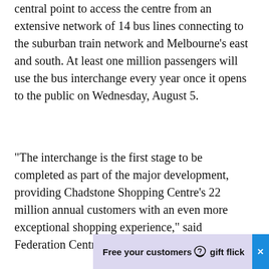central point to access the centre from an extensive network of 14 bus lines connecting to the suburban train network and Melbourne's east and south. At least one million passengers will use the bus interchange every year once it opens to the public on Wednesday, August 5.
“The interchange is the first stage to be completed as part of the major development, providing Chadstone Shopping Centre’s 22 million annual customers with an even more exceptional shopping experience,” said Federation Centres CEO and MD, Steven Sewell.
[Figure (other): Advertisement banner with lavender background. Left side reads 'Free your customers' in bold. Right side shows a speech bubble heart icon followed by 'gift flick' in bold. A blue close button with 'x' appears at the far right.]